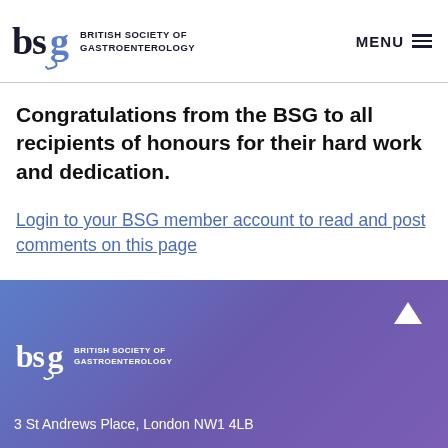BRITISH SOCIETY OF GASTROENTEROLOGY | MENU
Congratulations from the BSG to all recipients of honours for their hard work and dedication.
Login to your BSG member account to read and post comments on this page
BRITISH SOCIETY OF GASTROENTEROLOGY
3 St Andrews Place, London NW1 4LB